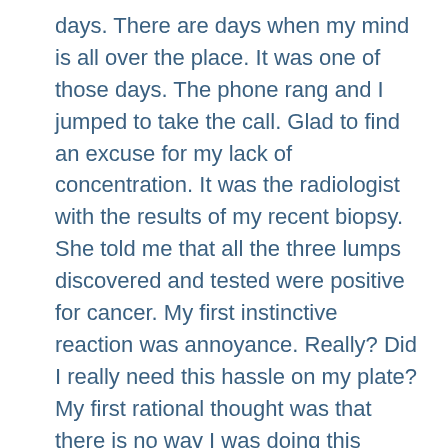days. There are days when my mind is all over the place. It was one of those days. The phone rang and I jumped to take the call. Glad to find an excuse for my lack of concentration. It was the radiologist with the results of my recent biopsy. She told me that all the three lumps discovered and tested were positive for cancer. My first instinctive reaction was annoyance. Really? Did I really need this hassle on my plate? My first rational thought was that there is no way I was doing this alone. I need my village for support.
With a vantage point of four weeks, it is interesting to look back at my own reactions. The instinct reaction was